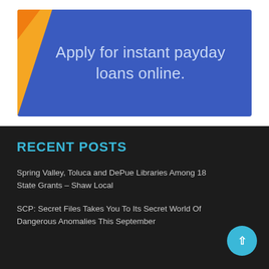[Figure (illustration): Advertisement banner with blue background and orange accent shape on the left. Text reads: Apply for instant payday loans online.]
RECENT POSTS
Spring Valley, Toluca and DePue Libraries Among 18 State Grants – Shaw Local
SCP: Secret Files Takes You To Its Secret World Of Dangerous Anomalies This September